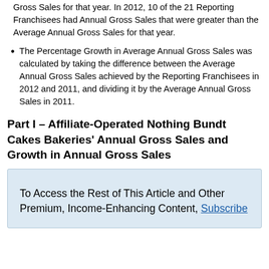Gross Sales for that year. In 2012, 10 of the 21 Reporting Franchisees had Annual Gross Sales that were greater than the Average Annual Gross Sales for that year.
The Percentage Growth in Average Annual Gross Sales was calculated by taking the difference between the Average Annual Gross Sales achieved by the Reporting Franchisees in 2012 and 2011, and dividing it by the Average Annual Gross Sales in 2011.
Part I – Affiliate-Operated Nothing Bundt Cakes Bakeries' Annual Gross Sales and Growth in Annual Gross Sales
To Access the Rest of This Article and Other Premium, Income-Enhancing Content, Subscribe